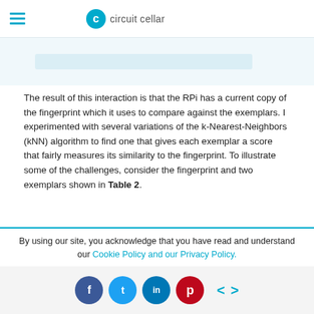circuit cellar
[Figure (screenshot): Screenshot bar showing partial URL and interface]
The result of this interaction is that the RPi has a current copy of the fingerprint which it uses to compare against the exemplars. I experimented with several variations of the k-Nearest-Neighbors (kNN) algorithm to find one that gives each exemplar a score that fairly measures its similarity to the fingerprint. To illustrate some of the challenges, consider the fingerprint and two exemplars shown in Table 2.
| Fingerprint |  | homeOffice |  |  | homeKitchen |  |  |
| --- | --- | --- | --- | --- | --- | --- | --- |
|  |  | MAC | rssi | score | MAC | rssi | score |
| C8:D7:19:46:7B:77 | 78 | C8:D7:19:46:7B:77 | 75 | 3 | C8:D7:19:46:7B:77 | 68 | 10 |
By using our site, you acknowledge that you have read and understand our Cookie Policy and our Privacy Policy.